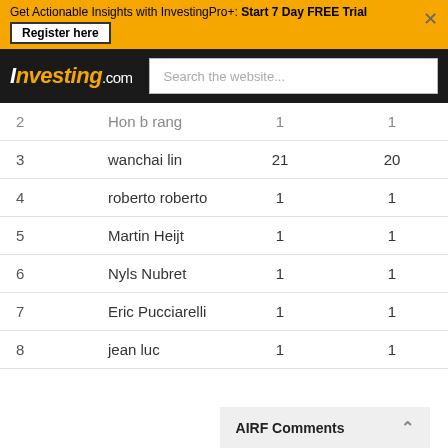Get Actionable Insights with InvestingPro+: Start 7 Day FREE Trial — Register here
[Figure (screenshot): Investing.com logo and search bar header]
| # | Name |  |  |
| --- | --- | --- | --- |
| 2 | Hon b rang | 1 | 1 |
| 3 | wanchai lin | 21 | 20 |
| 4 | roberto roberto | 1 | 1 |
| 5 | Martin Heijt | 1 | 1 |
| 6 | Nyls Nubret | 1 | 1 |
| 7 | Eric Pucciarelli | 1 | 1 |
| 8 | jean luc | 1 | 1 |
AIRF Comments